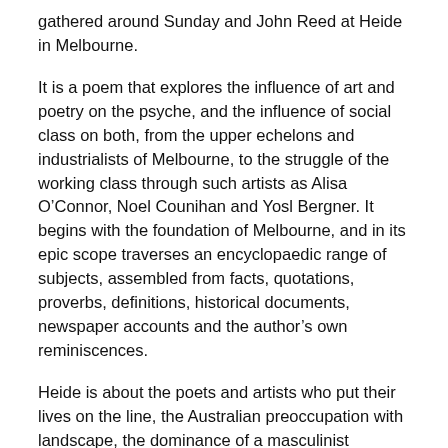gathered around Sunday and John Reed at Heide in Melbourne.
It is a poem that explores the influence of art and poetry on the psyche, and the influence of social class on both, from the upper echelons and industrialists of Melbourne, to the struggle of the working class through such artists as Alisa O’Connor, Noel Counihan and Yosl Bergner. It begins with the foundation of Melbourne, and in its epic scope traverses an encyclopaedic range of subjects, assembled from facts, quotations, proverbs, definitions, historical documents, newspaper accounts and the author’s own reminiscences.
Heide is about the poets and artists who put their lives on the line, the Australian preoccupation with landscape, the dominance of a masculinist aesthetic, the sidelining and denigration of Indigenous art, the struggle of women artists to assert their influence and presence, and the impact of migration on Australian culture.
It is a long poem made up of almost 300 poems, each